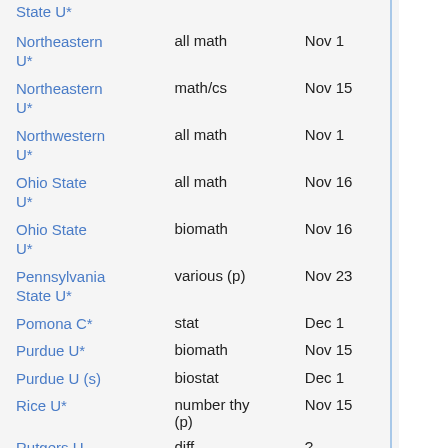| Institution | Program | Deadline |
| --- | --- | --- |
| State U* |  |  |
| Northeastern U* | all math | Nov 1 |
| Northeastern U* | math/cs | Nov 15 |
| Northwestern U* | all math | Nov 1 |
| Ohio State U* | all math | Nov 16 |
| Ohio State U* | biomath | Nov 16 |
| Pennsylvania State U* | various (p) | Nov 23 |
| Pomona C* | stat | Dec 1 |
| Purdue U* | biomath | Nov 15 |
| Purdue U (s) | biostat | Dec 1 |
| Rice U* | number thy (p) | Nov 15 |
| Rutgers U, New Brunswick* | diff geom/applied (p) (t) | ? |